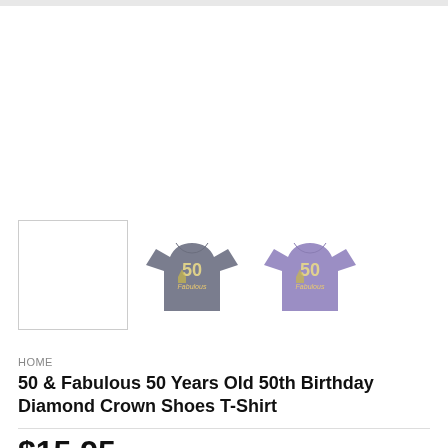[Figure (photo): Three product images: a white blank placeholder thumbnail with border, a gray t-shirt with '50 & Fabulous' diamond crown shoes graphic, and a purple t-shirt with the same '50 & Fabulous' graphic.]
HOME
50 & Fabulous 50 Years Old 50th Birthday Diamond Crown Shoes T-Shirt
$15.95